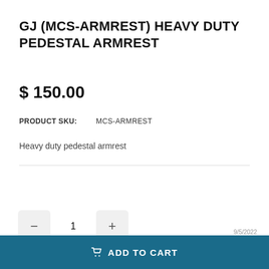GJ (MCS-ARMREST) HEAVY DUTY PEDESTAL ARMREST
$ 150.00
PRODUCT SKU: MCS-ARMREST
Heavy duty pedestal armrest
[Figure (screenshot): Mooringtech.com rating widget showing 4.5 stars from 146 reviews on ResellerRatings, dated 9/5/2022]
1
ADD TO CART